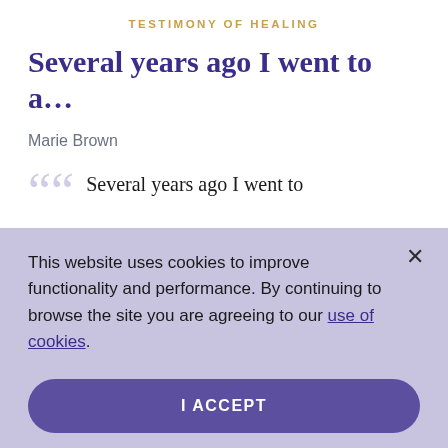TESTIMONY OF HEALING
Several years ago I went to a...
Marie Brown
“Several years ago I went to
This website uses cookies to improve functionality and performance. By continuing to browse the site you are agreeing to our use of cookies.
I ACCEPT